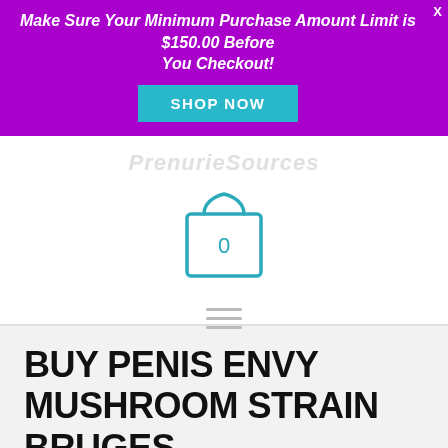Make Sure Your Minimum Purchase Amount Limit is $150.00 Before You Checkout!
[Figure (illustration): Shopping bag icon with number 0 inside, teal/cyan outline style]
BUY PENIS ENVY MUSHROOM STRAIN BRUGES
Leave a Comment / Mimosa hostilia / Inner root bark